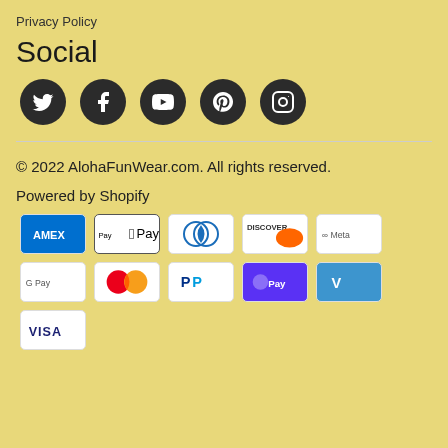Privacy Policy
Social
[Figure (infographic): Five social media icons (Twitter, Facebook, YouTube, Pinterest, Instagram) as white icons on dark circular backgrounds]
© 2022 AlohaFunWear.com. All rights reserved.
Powered by Shopify
[Figure (infographic): Payment method badges: AMEX, Apple Pay, Diners Club, Discover, Meta Pay, Google Pay, Mastercard, PayPal, Shop Pay, Venmo, Visa]